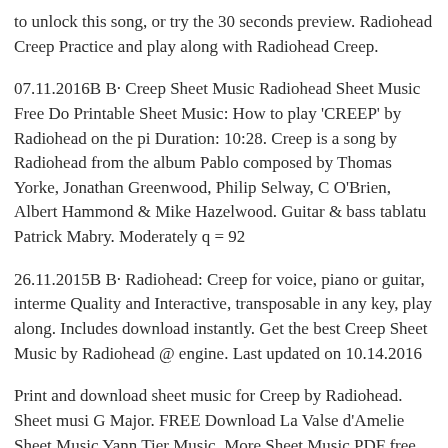to unlock this song, or try the 30 seconds preview. Radiohead Creep Practice and play along with Radiohead Creep.
07.11.2016B B· Creep Sheet Music Radiohead Sheet Music Free Do Printable Sheet Music: How to play 'CREEP' by Radiohead on the pi Duration: 10:28. Creep is a song by Radiohead from the album Pablo composed by Thomas Yorke, Jonathan Greenwood, Philip Selway, C O'Brien, Albert Hammond & Mike Hazelwood. Guitar & bass tablatu Patrick Mabry. Moderately q = 92
26.11.2015B B· Radiohead: Creep for voice, piano or guitar, interme Quality and Interactive, transposable in any key, play along. Includes download instantly. Get the best Creep Sheet Music by Radiohead @ engine. Last updated on 10.14.2016
Print and download sheet music for Creep by Radiohead. Sheet musi G Major. FREE Download La Valse d'Amelie Sheet Music Yann Tier Music. More Sheet Music PDF free. Shiva Valse piano La Valse d 26 Creep for voice, piano or guitar, intermediate sheet music. High Qua